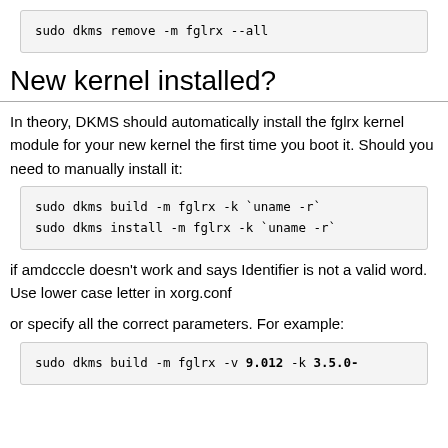sudo dkms remove -m fglrx --all
New kernel installed?
In theory, DKMS should automatically install the fglrx kernel module for your new kernel the first time you boot it. Should you need to manually install it:
sudo dkms build -m fglrx -k `uname -r`
sudo dkms install -m fglrx -k `uname -r`
if amdcccle doesn't work and says Identifier is not a valid word. Use lower case letter in xorg.conf
or specify all the correct parameters. For example:
sudo dkms build -m fglrx -v 9.012 -k 3.5.0-